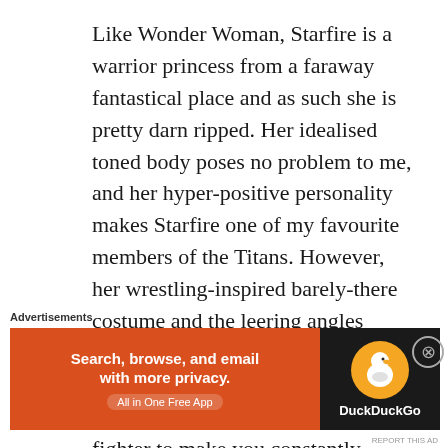Like Wonder Woman, Starfire is a warrior princess from a faraway fantastical place and as such she is pretty darn ripped. Her idealised toned body poses no problem to me, and her hyper-positive personality makes Starfire one of my favourite members of the Titans. However, her wrestling-inspired barely-there costume and the leering angles artists often choose to draw her at distract from her ungendered qualities as a powerful crime-fighter to make you constantly aware that
Advertisements
[Figure (other): DuckDuckGo advertisement banner: orange/red left panel with text 'Search, browse, and email with more privacy. All in One Free App' and dark right panel with DuckDuckGo duck logo and 'DuckDuckGo' text]